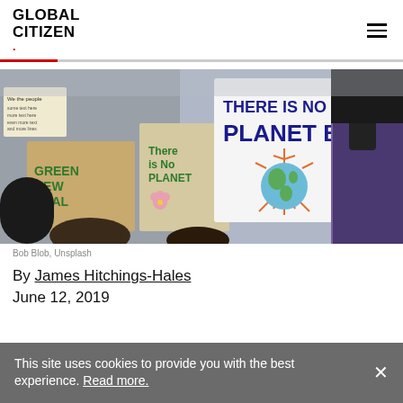GLOBAL CITIZEN.
[Figure (photo): Climate protest with signs reading 'THERE IS NO PLANET B' with a drawing of the earth, and other signs including 'GREEN NEW DEAL' and 'There is No Planet'. A person in a purple shirt is visible on the right.]
Bob Blob, Unsplash
By James Hitchings-Hales
June 12, 2019
This site uses cookies to provide you with the best experience. Read more.